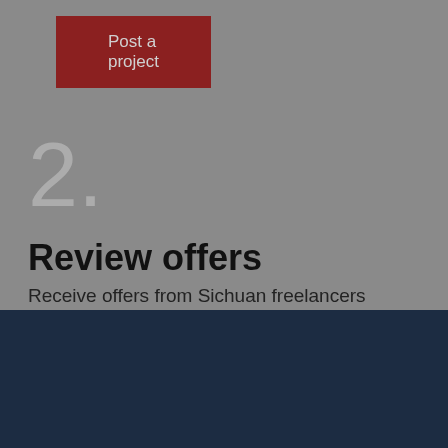[Figure (screenshot): Red button labeled 'Post a project' on grey background]
2.
Review offers
Receive offers from Sichuan freelancers
This website uses cookies to ensure you get the best experience on our website. Learn more
Cookie Settings
Accept All Cookies